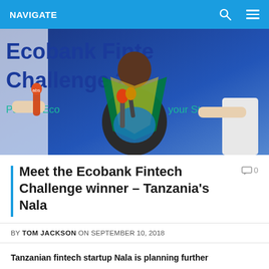NAVIGATE
[Figure (photo): Man wearing a Tanzanian flag draped over his shoulders, standing in front of an Ecobank Fintech Challenge 2018 banner, being interviewed by journalists holding microphones.]
Meet the Ecobank Fintech Challenge winner – Tanzania's Nala
BY TOM JACKSON ON SEPTEMBER 10, 2018
Tanzanian fintech startup Nala is planning further